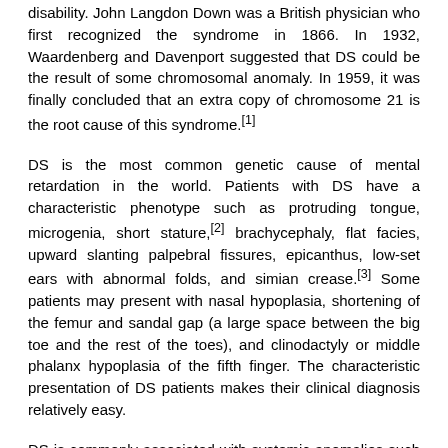disability. John Langdon Down was a British physician who first recognized the syndrome in 1866. In 1932, Waardenberg and Davenport suggested that DS could be the result of some chromosomal anomaly. In 1959, it was finally concluded that an extra copy of chromosome 21 is the root cause of this syndrome.[1]
DS is the most common genetic cause of mental retardation in the world. Patients with DS have a characteristic phenotype such as protruding tongue, microgenia, short stature,[2] brachycephaly, flat facies, upward slanting palpebral fissures, epicanthus, low-set ears with abnormal folds, and simian crease.[3] Some patients may present with nasal hypoplasia, shortening of the femur and sandal gap (a large space between the big toe and the rest of the toes), and clinodactyly or middle phalanx hypoplasia of the fifth finger. The characteristic presentation of DS patients makes their clinical diagnosis relatively easy.
DS is commonly associated with systemic anomalies such as mental retardation, cardiac anomalies, gastrointestinal anomalies, ophthalmological errors, hearing loss, skin problems, and genitourinary abnormalities.[2] Males with DS are usually sterile, in contrast to DS females, who can still be fertile, although menstrual irregularities have been reported in them.[4] Congenital heart diseases (CHDs) are seen in most of the patients of DS in the form of atrioventricular septal defects (AVSDs), ventricular septal defect (VSD), atrial septal defect (ASD), etc.[5]
Various risk factors have been associated with the occurrence of DS such as advanced maternal age, consanguineous marriage, use of contraceptive pills, and aberrant distribution of chromosomes in addition to other risk factors.